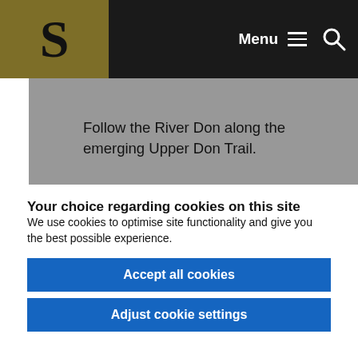S  Menu  🔍
[Figure (photo): Gray placeholder image area with text overlay reading 'Follow the River Don along the emerging Upper Don Trail.']
Follow the River Don along the emerging Upper Don Trail.
Your choice regarding cookies on this site
We use cookies to optimise site functionality and give you the best possible experience.
Accept all cookies
Adjust cookie settings